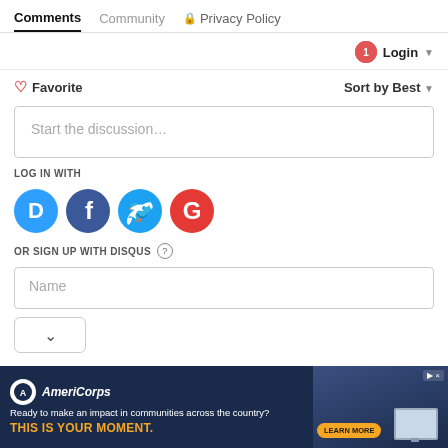Comments | Community | Privacy Policy
Login
❤ Favorite   Sort by Best
Start the discussion...
LOG IN WITH
[Figure (infographic): Social login icons: Disqus (D), Facebook (f), Twitter bird, Google (G)]
OR SIGN UP WITH DISQUS ?
Name
[Figure (screenshot): AmeriCorps advertisement banner: Ready to make an impact in communities across the country? THIS IS YOUR MOMENT. LEARN MORE]